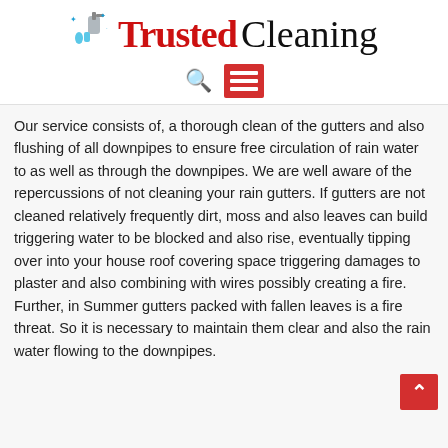Trusted Cleaning
[Figure (logo): Trusted Cleaning logo with spray bottle icon, 'Trusted' in red serif font and 'Cleaning' in black serif font, with a search icon and red hamburger menu icon below]
Our service consists of, a thorough clean of the gutters and also flushing of all downpipes to ensure free circulation of rain water to as well as through the downpipes. We are well aware of the repercussions of not cleaning your rain gutters. If gutters are not cleaned relatively frequently dirt, moss and also leaves can build triggering water to be blocked and also rise, eventually tipping over into your house roof covering space triggering damages to plaster and also combining with wires possibly creating a fire. Further, in Summer gutters packed with fallen leaves is a fire threat. So it is necessary to maintain them clear and also the rain water flowing to the downpipes.